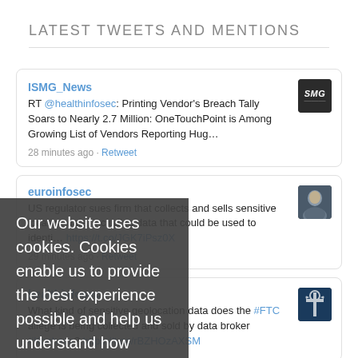LATEST TWEETS AND MENTIONS
ISMG_News
RT @healthinfosec: Printing Vendor's Breach Tally Soars to Nearly 2.7 Million: OneTouchPoint is Among Growing List of Vendors Reporting Hug…
28 minutes ago · Retweet
euroinfosec
US regulator sues firm that collects and sells sensitive location data, including data that could be used to identi… https://t.co/JGK7iPsz0X
29 minutes ago · Retweet
healthinfosec
What kind of sensitive geolocation data does the #FTC allege is being collected and sold by data broker #Kochava? https://t.co/rBZHOzAXSM
Our website uses cookies. Cookies enable us to provide the best experience possible and help us understand how visitors use our website. By browsing fraudtoday.io, you agree to our use of cookies.